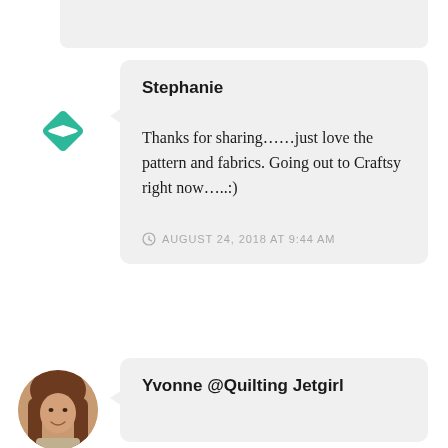Stephanie
Thanks for sharing......just love the pattern and fabrics. Going out to Craftsy right now.....:)
AUGUST 24, 2018 AT 9:44 AM
Yvonne @Quilting Jetgirl